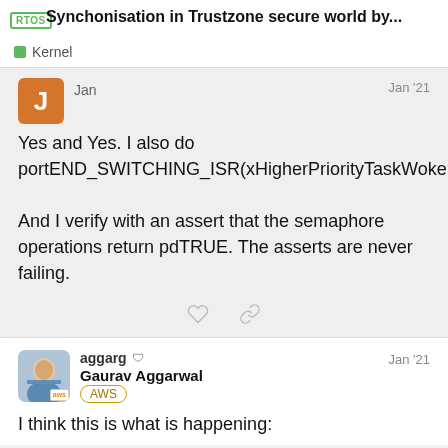Synchonisation in Trustzone secure world by...
Kernel
Jan
Jan '21
Yes and Yes. I also do portEND_SWITCHING_ISR(xHigherPriorityTaskWoken).

And I verify with an assert that the semaphore operations return pdTRUE. The asserts are never failing.
aggarg  Jan '21
Gaurav Aggarwal
AWS
I think this is what is happening: